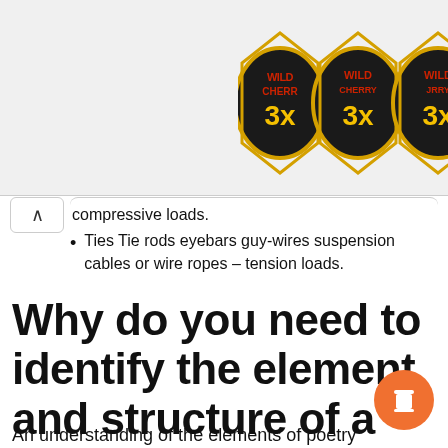[Figure (logo): Three Wild Cherry 3x slot machine logos arranged in top right corner]
compressive loads.
Ties Tie rods eyebars guy-wires suspension cables or wire ropes – tension loads.
Why do you need to identify the element and structure of a poem?
An understanding of the elements of poetry